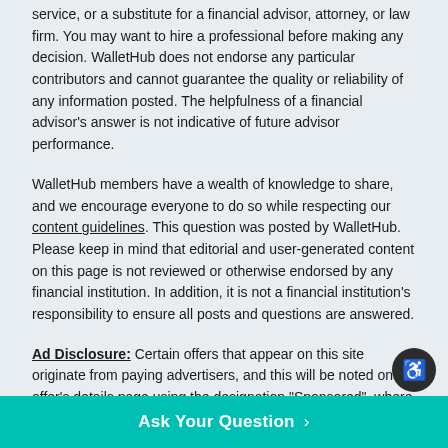service, or a substitute for a financial advisor, attorney, or law firm. You may want to hire a professional before making any decision. WalletHub does not endorse any particular contributors and cannot guarantee the quality or reliability of any information posted. The helpfulness of a financial advisor's answer is not indicative of future advisor performance.
WalletHub members have a wealth of knowledge to share, and we encourage everyone to do so while respecting our content guidelines. This question was posted by WalletHub. Please keep in mind that editorial and user-generated content on this page is not reviewed or otherwise endorsed by any financial institution. In addition, it is not a financial institution's responsibility to ensure all posts and questions are answered.
Ad Disclosure: Certain offers that appear on this site originate from paying advertisers, and this will be noted on an offer's details page using the designation "Sponsored", where applicable. Advertising may impact how and where products appear on this site (including, for example, the order in which they appear). At WalletHub we try to present a wide array of offers, but our offers do not represent a
Ask Your Question >